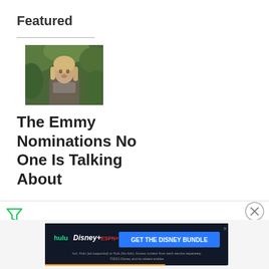Featured
[Figure (photo): A woman with long blonde hair wearing a scarf and jacket, standing outdoors with green foliage in the background, looking surprised or startled]
The Emmy Nominations No One Is Talking About
[Figure (other): Filter/funnel icon in green]
[Figure (other): Close/X button circle icon]
[Figure (other): Disney Bundle advertisement banner showing Hulu, Disney+, ESPN+ logos with 'GET THE DISNEY BUNDLE' call-to-action button and fine print text]